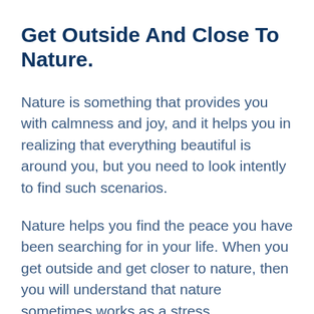Get Outside And Close To Nature.
Nature is something that provides you with calmness and joy, and it helps you in realizing that everything beautiful is around you, but you need to look intently to find such scenarios.
Nature helps you find the peace you have been searching for in your life. When you get outside and get closer to nature, then you will understand that nature sometimes works as a stress